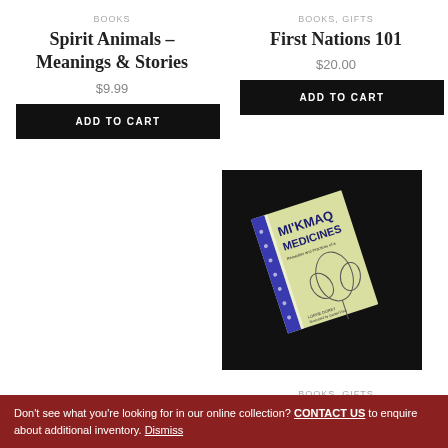BOOKS
Spirit Animals – Meanings & Stories
$9.99
ADD TO CART
BOOKS, GIFTS
First Nations 101
$20.00
ADD TO CART
[Figure (photo): Photo of Mi'kmaq Medicines book on dark background]
BOOKS, GIFTS
Mi'kmaq Medicines
$16.95
Don't see what you're looking for in our online collection? CONTACT US to enquire about additional inventory. Dismiss